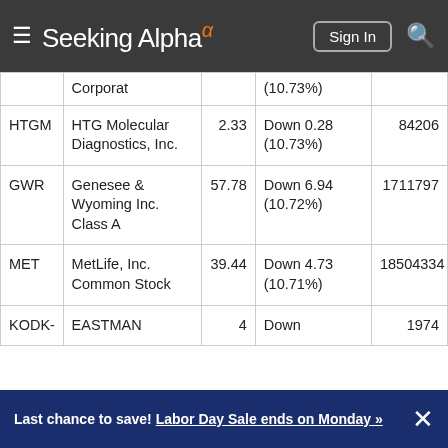Seeking Alpha
| Symbol | Name | Price | Change | Volume |
| --- | --- | --- | --- | --- |
|  | Corporat |  | (10.73%) |  |
| HTGM | HTG Molecular Diagnostics, Inc. | 2.33 | Down 0.28 (10.73%) | 84206 |
| GWR | Genesee & Wyoming Inc. Class A | 57.78 | Down 6.94 (10.72%) | 1711797 |
| MET | MetLife, Inc. Common Stock | 39.44 | Down 4.73 (10.71%) | 18504334 |
| KODK- | EASTMAN | 4 | Down | 1974 |
Last chance to save! Labor Day Sale ends on Monday »